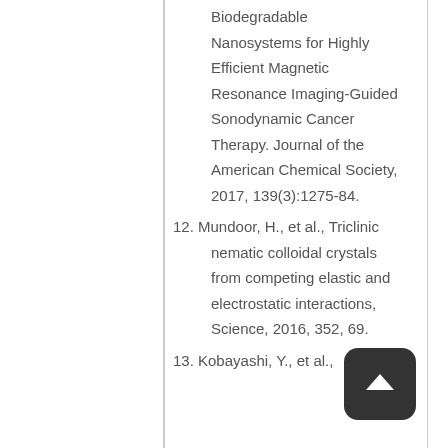Biodegradable Nanosystems for Highly Efficient Magnetic Resonance Imaging-Guided Sonodynamic Cancer Therapy. Journal of the American Chemical Society, 2017, 139(3):1275-84.
12. Mundoor, H., et al., Triclinic nematic colloidal crystals from competing elastic and electrostatic interactions, Science, 2016, 352, 69.
13. Kobayashi, Y., et al., ...